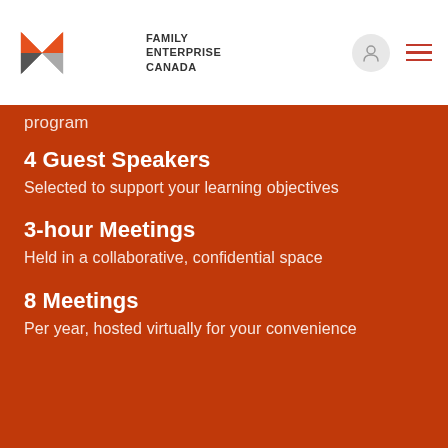[Figure (logo): Family Enterprise Canada logo with X-shaped icon in orange and grey, and text 'FAMILY ENTERPRISE CANADA']
program
4 Guest Speakers
Selected to support your learning objectives
3-hour Meetings
Held in a collaborative, confidential space
8 Meetings
Per year, hosted virtually for your convenience